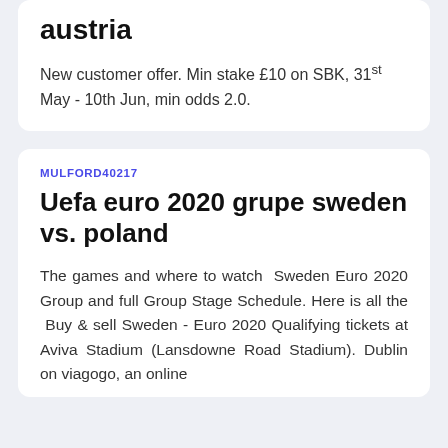austria
New customer offer. Min stake £10 on SBK, 31st May - 10th Jun, min odds 2.0.
MULFORD40217
Uefa euro 2020 grupe sweden vs. poland
The games and where to watch Sweden Euro 2020 Group and full Group Stage Schedule. Here is all the Buy & sell Sweden - Euro 2020 Qualifying tickets at Aviva Stadium (Lansdowne Road Stadium). Dublin on viagogo, an online